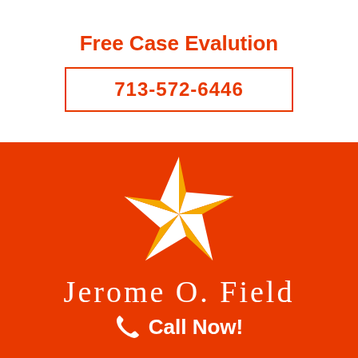Free Case Evalution
713-572-6446
[Figure (logo): Gold and white Texas star (nautical star) logo for Jerome O. Field law firm on orange background]
Jerome O. Field
Call Now!